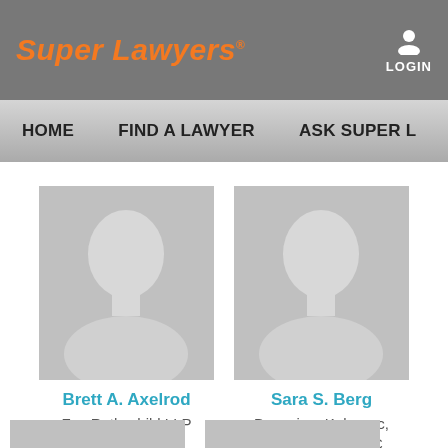Super Lawyers
LOGIN
HOME   FIND A LAWYER   ASK SUPER L
[Figure (photo): Placeholder silhouette headshot for Brett A. Axelrod]
Brett A. Axelrod
Fox Rothschild LLP
[Figure (photo): Placeholder silhouette headshot for Sara S. Berg]
Sara S. Berg
Browning, Kaleczyc, Berry & Hoven PC